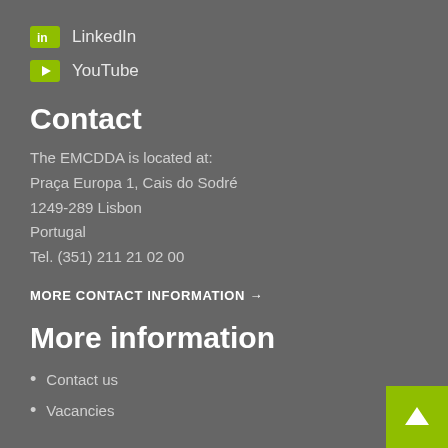LinkedIn
YouTube
Contact
The EMCDDA is located at:
Praça Europa 1, Cais do Sodré
1249-289 Lisbon
Portugal
Tel. (351) 211 21 02 00
MORE CONTACT INFORMATION →
More information
Contact us
Vacancies